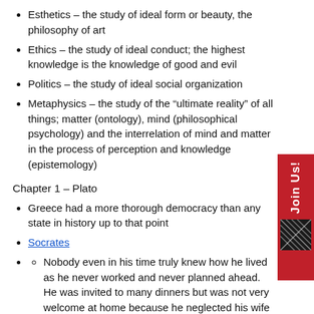Esthetics – the study of ideal form or beauty, the philosophy of art
Ethics – the study of ideal conduct; the highest knowledge is the knowledge of good and evil
Politics – the study of ideal social organization
Metaphysics – the study of the “ultimate reality” of all things; matter (ontology), mind (philosophical psychology) and the interrelation of mind and matter in the process of perception and knowledge (epistemology)
Chapter 1 – Plato
Greece had a more thorough democracy than any state in history up to that point
Socrates
Nobody even in his time truly knew how he lived as he never worked and never planned ahead. He was invited to many dinners but was not very welcome at home because he neglected his wife